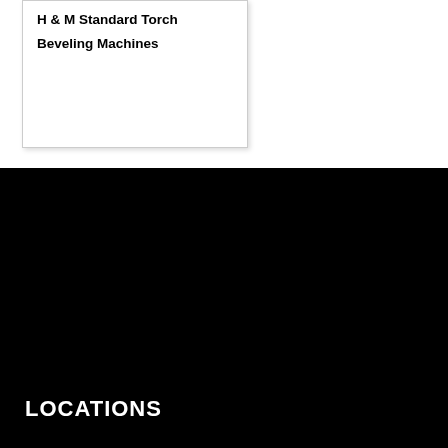H & M Standard Torch Beveling Machines
LOCATIONS
Greater Detroit
877-446-4352
21610 Meyers Road
Oak Park, MI 48237